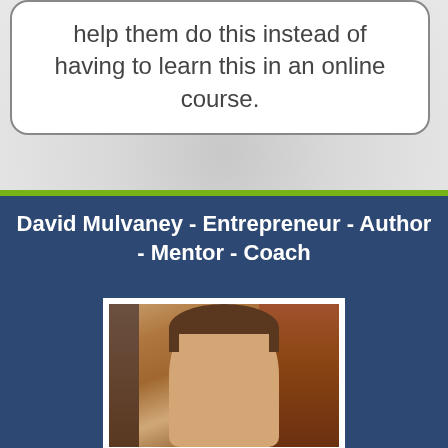help them do this instead of having to learn this in an online course.
David Mulvaney - Entrepreneur - Author - Mentor - Coach
[Figure (photo): Portrait photo of David Mulvaney, a middle-aged man with short dark hair, against a background with Asian decorative elements]